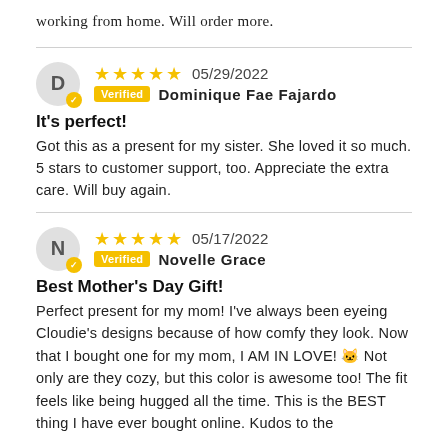working from home. Will order more.
★★★★★ 05/29/2022 Verified Dominique Fae Fajardo
It's perfect!
Got this as a present for my sister. She loved it so much. 5 stars to customer support, too. Appreciate the extra care. Will buy again.
★★★★★ 05/17/2022 Verified Novelle Grace
Best Mother's Day Gift!
Perfect present for my mom! I've always been eyeing Cloudie's designs because of how comfy they look. Now that I bought one for my mom, I AM IN LOVE! 🐱 Not only are they cozy, but this color is awesome too! The fit feels like being hugged all the time. This is the BEST thing I have ever bought online. Kudos to the